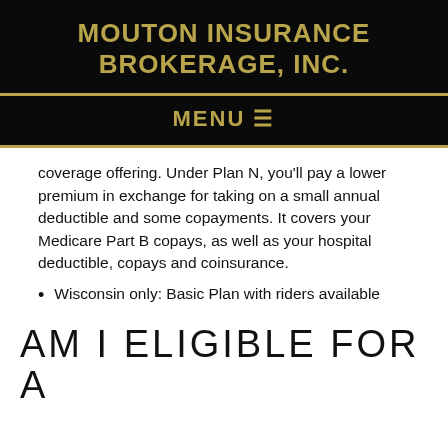MOUTON INSURANCE BROKERAGE, INC.
MENU ☰
coverage offering. Under Plan N, you'll pay a lower premium in exchange for taking on a small annual deductible and some copayments. It covers your Medicare Part B copays, as well as your hospital deductible, copays and coinsurance.
Wisconsin only: Basic Plan with riders available
AM I ELIGIBLE FOR A